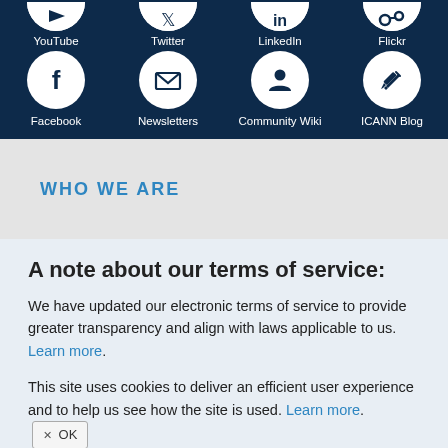[Figure (screenshot): Social media icons navigation bar on dark navy background. Top row (partially visible): YouTube, Twitter, LinkedIn, Flickr. Bottom row: Facebook, Newsletters, Community Wiki, ICANN Blog. Each icon is a white circle with a symbol inside, with a label below.]
WHO WE ARE
A note about our terms of service:
We have updated our electronic terms of service to provide greater transparency and align with laws applicable to us. Learn more.
This site uses cookies to deliver an efficient user experience and to help us see how the site is used. Learn more. OK